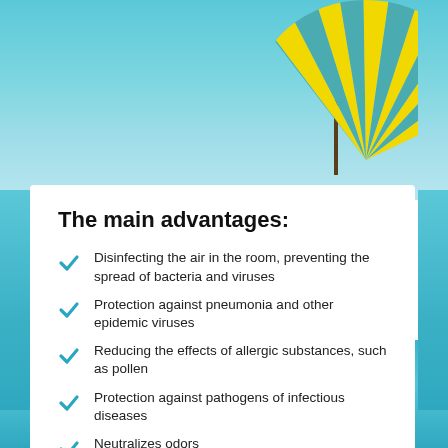[Figure (illustration): Beach background with blue sky, water, and a striped yellow and teal beach umbrella in the upper right corner]
The main advantages:
Disinfecting the air in the room, preventing the spread of bacteria and viruses
Protection against pneumonia and other epidemic viruses
Reducing the effects of allergic substances, such as pollen
Protection against pathogens of infectious diseases
Neutralizes odors